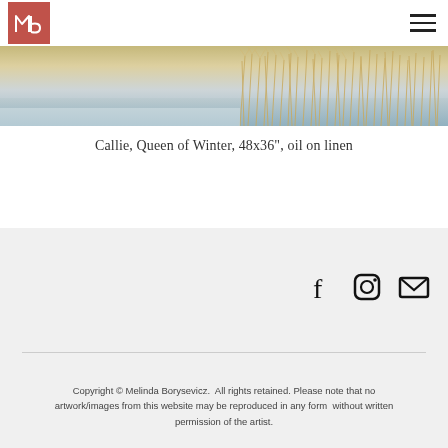mb logo and navigation menu
[Figure (photo): Partial view of a painting showing a winter landscape with grassy reeds and muted sky — 'Callie, Queen of Winter']
Callie, Queen of Winter, 48x36", oil on linen
[Figure (infographic): Social media icons: Facebook, Instagram, Email]
Copyright © Melinda Borysevicz.  All rights retained. Please note that no artwork/images from this website may be reproduced in any form  without written permission of the artist.